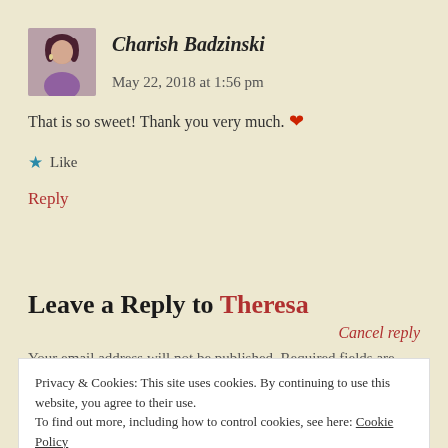[Figure (photo): Avatar photo of Charish Badzinski, a woman with dark hair]
Charish Badzinski   May 22, 2018 at 1:56 pm
That is so sweet! Thank you very much. ❤
★ Like
Reply
Leave a Reply to Theresa
Cancel reply
Your email address will not be published. Required fields are
Privacy & Cookies: This site uses cookies. By continuing to use this website, you agree to their use.
To find out more, including how to control cookies, see here: Cookie Policy
Close and accept